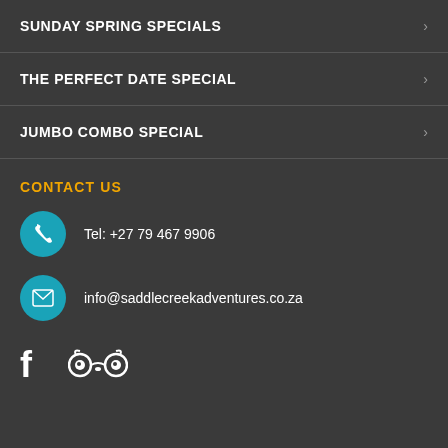SUNDAY SPRING SPECIALS
THE PERFECT DATE SPECIAL
JUMBO COMBO SPECIAL
CONTACT US
Tel: +27 79 467 9906
info@saddlecreekadventures.co.za
[Figure (illustration): Facebook and TripAdvisor social media icons]